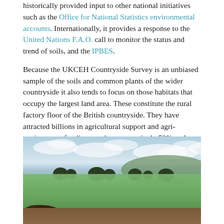historically provided input to other national initiatives such as the Office for National Statistics environmental accounts. Internationally, it provides a response to the United Nations F.A.O. call to monitor the status and trend of soils, and the IPBES.
Because the UKCEH Countryside Survey is an unbiased sample of the soils and common plants of the wider countryside it also tends to focus on those habitats that occupy the largest land area. These constitute the rural factory floor of the British countryside. They have attracted billions in agricultural support and agri-environment funding, produce respectively 52% and 30% of the nation's annual demand for food and wood and provide the ecological fabric within which rarer habitats and species as well as human settlements are embedded.
[Figure (photo): A wide countryside landscape photograph showing an open green field under a partly cloudy sky, with scattered dark trees or bushes in the mid-ground and gentle hills in the distance. The foreground has a dark brown earthy element.]